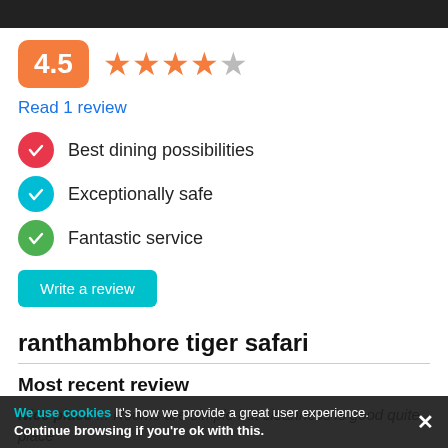[Figure (infographic): Rating badge showing 4.5 in an orange rounded rectangle, followed by 4 filled orange stars and 1 grey half/empty star]
Read 1 review
Best dining possibilities
Exceptionally safe
Fantastic service
Write a review
ranthambhore tiger safari
Most recent review
Nice place ... Rooms are simple but cleanness is good quite place staff beheioutre is very good they help for book safari ticket with pleasure not in any hotel food awesome and tastywe recommmed everyone you visit it once Cost
We use cookies It's how we provide a great user experience. Continue browsing if you're ok with this.